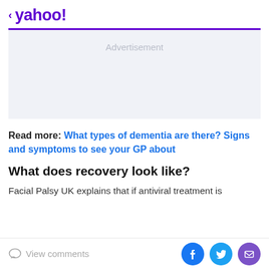< yahoo!
[Figure (other): Advertisement placeholder banner with light gray background]
Read more: What types of dementia are there? Signs and symptoms to see your GP about
What does recovery look like?
Facial Palsy UK explains that if antiviral treatment is
View comments | Facebook | Twitter | Mail